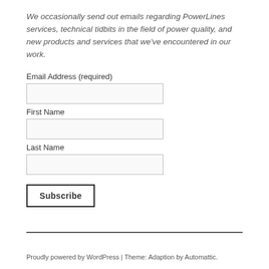We occasionally send out emails regarding PowerLines services, technical tidbits in the field of power quality, and new products and services that we've encountered in our work.
Email Address (required)
First Name
Last Name
Subscribe
Proudly powered by WordPress | Theme: Adaption by Automattic.